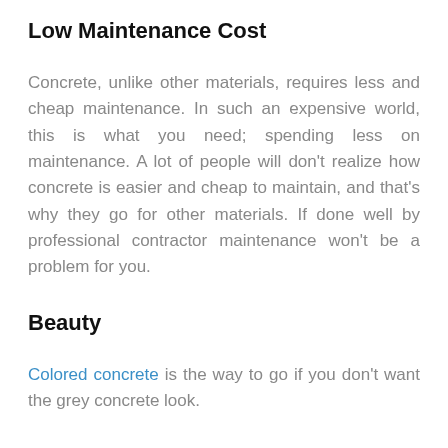Low Maintenance Cost
Concrete, unlike other materials, requires less and cheap maintenance. In such an expensive world, this is what you need; spending less on maintenance. A lot of people will don't realize how concrete is easier and cheap to maintain, and that's why they go for other materials. If done well by professional contractor maintenance won't be a problem for you.
Beauty
Colored concrete is the way to go if you don't want the grey concrete look.